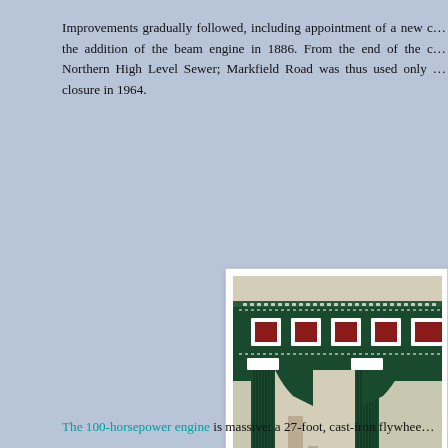Improvements gradually followed, including appointment of a new c… the addition of the beam engine in 1886. From the end of the c… Northern High Level Sewer; Markfield Road was thus used only … closure in 1964.
[Figure (photo): Interior photograph of ornate Victorian cast-iron engine house columns and beams, painted dark green and white with red decorative panels, showing fluted columns and decorative frieze work.]
The 100-horsepower engine is massive: a 27-foot, cast-iron flywhee…